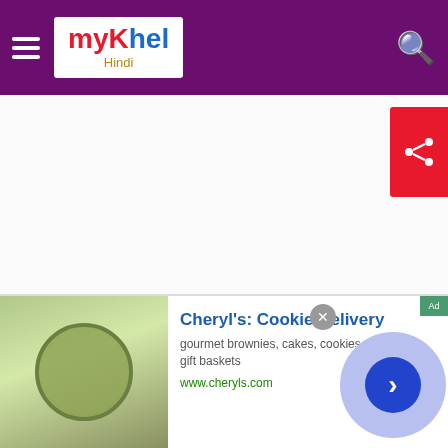[Figure (screenshot): myKhel Hindi sports website header with purple background, hamburger menu, logo, and search icon]
[Figure (other): Red share button with share icon on the right side]
हिंदी टैब navigation bar with two tabs - left tab and right orange tab
[Figure (screenshot): Black video player overlay with close X button]
[Figure (other): Advertisement banner for Cheryl's Cookie Delivery - gourmet brownies, cakes, cookies and cookie gift baskets - www.cheryls.com]